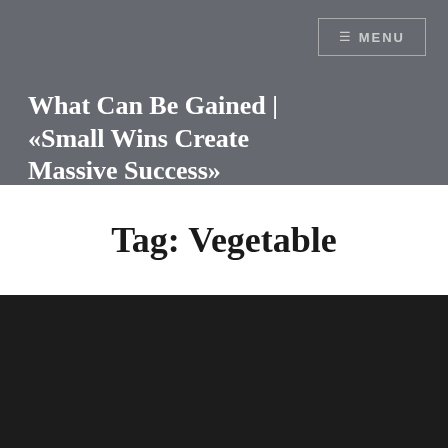≡ MENU
What Can Be Gained | «Small Wins Create Massive Success»
Tag: Vegetable